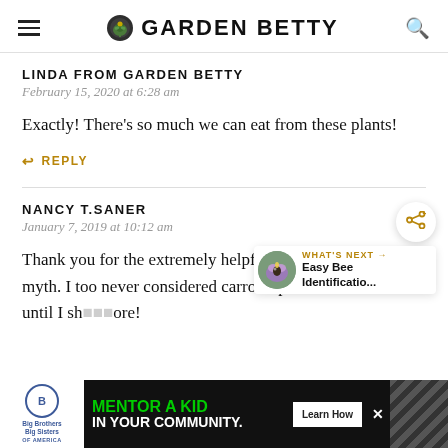GARDEN BETTY
LINDA FROM GARDEN BETTY
February 15, 2020 at 6:28 am
Exactly! There's so much we can eat from these plants!
REPLY
NANCY T.SANER
January 7, 2019 at 10:12 am
Thank you for the extremely helpful article th... lifelong myth. I too never considered carrot tops to be tox... until I sh... ore!
[Figure (screenshot): WHAT'S NEXT arrow with Easy Bee Identificatio... and bee on flower image]
[Figure (screenshot): Advertisement: Big Brothers Big Sisters - MENTOR A KID IN YOUR COMMUNITY. Learn How button. Diagonal striped pattern on right.]